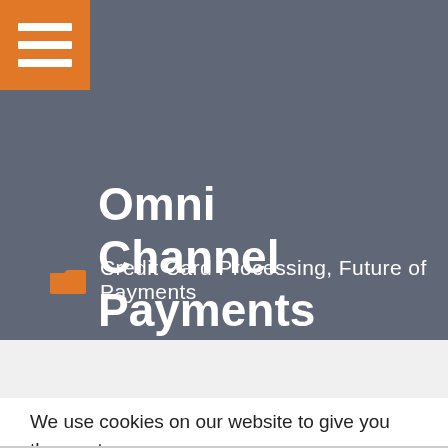Omni Channel Payments Benefits and Strategy
Credit Card Processing, Future of Payments
We use cookies on our website to give you the most relevant experience by remembering your preferences